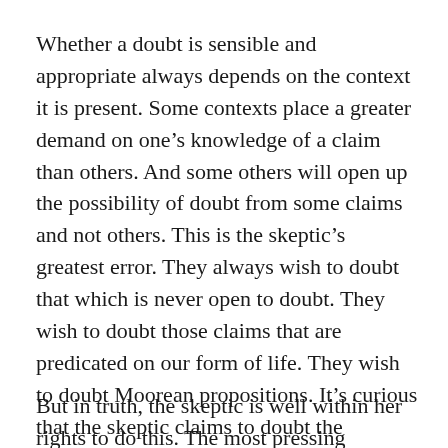Whether a doubt is sensible and appropriate always depends on the context it is present. Some contexts place a greater demand on one’s knowledge of a claim than others. And some others will open up the possibility of doubt from some claims and not others. This is the skeptic’s greatest error. They always wish to doubt that which is never open to doubt. They wish to doubt those claims that are predicated on our form of life. They wish to doubt Moorean propositions. It’s curious that the skeptic claims to doubt the external world, yet stands upon the stage to address an audience. It really makes one think.
But in truth, the skeptic is well within her rights to do this. The most pressing questions in